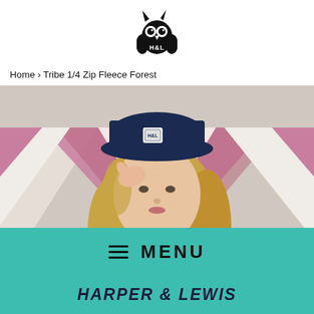[Figure (logo): Harper & Lewis owl logo with H&L text]
Home › Tribe 1/4 Zip Fleece Forest
[Figure (photo): Woman wearing a dark green quarter-zip fleece and a navy bucket hat with H&L logo, standing in front of a pink and white geometric painted wall]
[Figure (other): Teal/turquoise menu bar with hamburger icon and MENU text]
HARPER & LEWIS